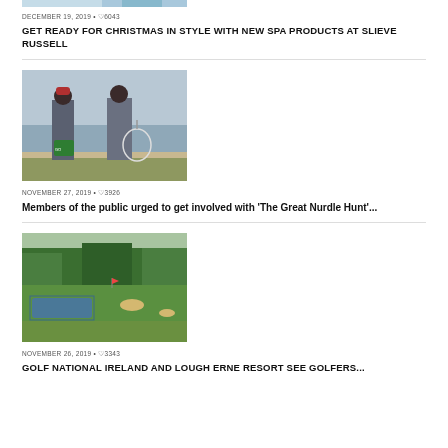[Figure (photo): Top image partially visible at top of page - appears to be a spa/water related photo]
DECEMBER 19, 2019 • ♡6043
GET READY FOR CHRISTMAS IN STYLE WITH NEW SPA PRODUCTS AT SLIEVE RUSSELL
[Figure (photo): Two people standing on a beach, one holding a green bag and the other holding a large net]
NOVEMBER 27, 2019 • ♡3926
Members of the public urged to get involved with 'The Great Nurdle Hunt'...
[Figure (photo): Golf course with green grass, trees, and a water feature]
NOVEMBER 26, 2019 • ♡3343
GOLF NATIONAL IRELAND AND LOUGH ERNE RESORT SEE GOLFERS...